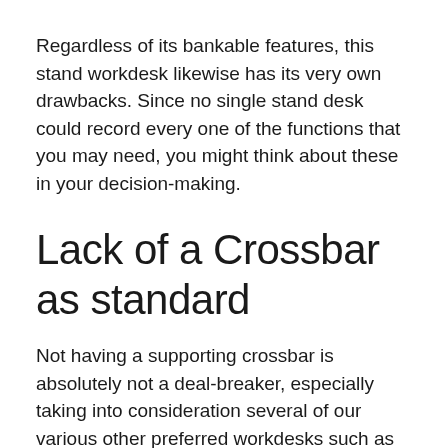Regardless of its bankable features, this stand workdesk likewise has its very own drawbacks. Since no single stand desk could record every one of the functions that you may need, you might think about these in your decision-making.
Lack of a Crossbar as standard
Not having a supporting crossbar is absolutely not a deal-breaker, especially taking into consideration several of our various other preferred workdesks such as the Totally Jarvis also do not have one. Actually, this desk does have one if you